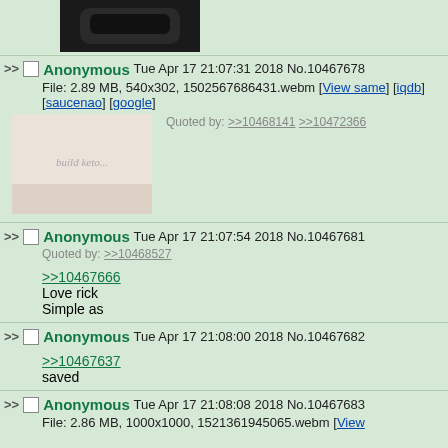[Figure (photo): Top partial image of dark object, cropped]
>> Anonymous Tue Apr 17 21:07:31 2018 No.10467678
File: 2.89 MB, 540x302, 1502567686431.webm [View same] [iqdb] [saucenao] [google]
Quoted by: >>10468141 >>10472366
[Figure (photo): Thumbnail of aged/worn paper or parchment with faint text]
>> Anonymous Tue Apr 17 21:07:54 2018 No.10467681
Quoted by: >>10468527
>>10467666
Love rick
Simple as
>> Anonymous Tue Apr 17 21:08:00 2018 No.10467682
>>10467637
saved
>> Anonymous Tue Apr 17 21:08:08 2018 No.10467683
File: 2.86 MB, 1000x1000, 1521361945065.webm [View